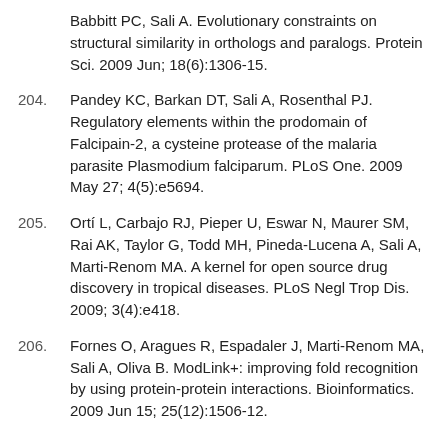Babbitt PC, Sali A. Evolutionary constraints on structural similarity in orthologs and paralogs. Protein Sci. 2009 Jun; 18(6):1306-15.
204. Pandey KC, Barkan DT, Sali A, Rosenthal PJ. Regulatory elements within the prodomain of Falcipain-2, a cysteine protease of the malaria parasite Plasmodium falciparum. PLoS One. 2009 May 27; 4(5):e5694.
205. Ortí L, Carbajo RJ, Pieper U, Eswar N, Maurer SM, Rai AK, Taylor G, Todd MH, Pineda-Lucena A, Sali A, Marti-Renom MA. A kernel for open source drug discovery in tropical diseases. PLoS Negl Trop Dis. 2009; 3(4):e418.
206. Fornes O, Aragues R, Espadaler J, Marti-Renom MA, Sali A, Oliva B. ModLink+: improving fold recognition by using protein-protein interactions. Bioinformatics. 2009 Jun 15; 25(12):1506-12.